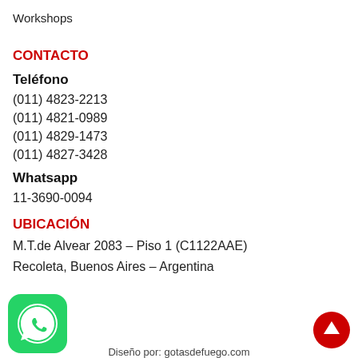Workshops
CONTACTO
Teléfono
(011) 4823-2213
(011) 4821-0989
(011) 4829-1473
(011) 4827-3428
Whatsapp
11-3690-0094
UBICACIÓN
M.T.de Alvear 2083 – Piso 1 (C1122AAE)
Recoleta, Buenos Aires – Argentina
Diseño por: gotasdefuego.com